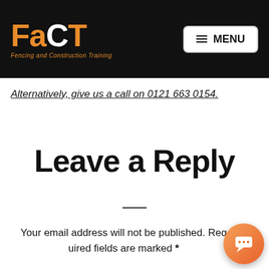FaCT - Fencing and Construction Training | MENU
Alternatively, give us a call on 0121 663 0154.
Leave a Reply
Your email address will not be published. Required fields are marked *